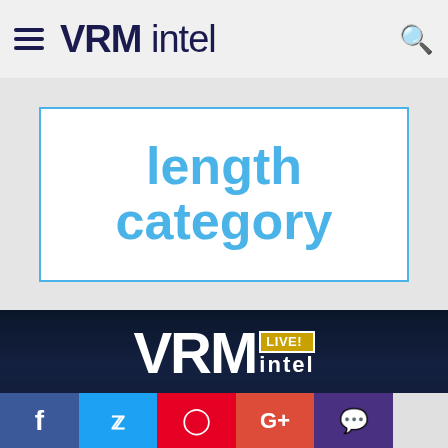VRM intel
length category
[Figure (screenshot): VRM Intel Live conference event banner with dark blue background showing conference schedule: DARM CONFERENCE AUG. 9-10, 2022 / LAKE TAHOE NOV. 3, 2022 / SOUTHWEST FLORIDA NOV. 30, 2022 / GULF SHORES, AL JANUARY 2023 and REGISTER NOW button]
Facebook Twitter Pinterest Google+ Chat